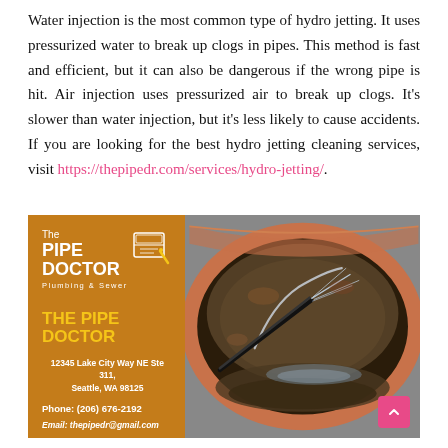Water injection is the most common type of hydro jetting. It uses pressurized water to break up clogs in pipes. This method is fast and efficient, but it can also be dangerous if the wrong pipe is hit. Air injection uses pressurized air to break up clogs. It's slower than water injection, but it's less likely to cause accidents. If you are looking for the best hydro jetting cleaning services, visit https://thepipedr.com/services/hydro-jetting/.
[Figure (photo): Advertisement for The Pipe Doctor Plumbing & Sewer. Left panel is orange/brown with the company logo (The PIPE DOCTOR Plumbing & Sewer), company name in yellow (THE PIPE DOCTOR), address (12345 Lake City Way NE Ste 311, Seattle, WA 98125), phone (206) 676-2192, and email thepipedr@gmail.com. Right panel shows a close-up photo inside a pipe being cleaned with a high-pressure hydro jetting nozzle spraying water.]